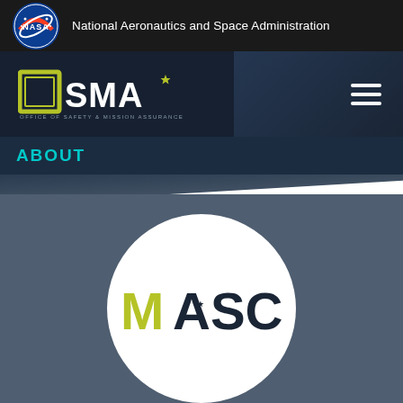National Aeronautics and Space Administration
[Figure (logo): OSMA - Office of Safety & Mission Assurance logo]
ABOUT
[Figure (logo): MASCD logo in white circle on dark blue-grey background]